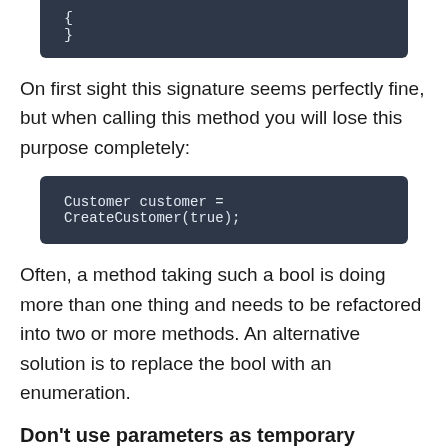[Figure (screenshot): Code block showing closing brace: { }]
On first sight this signature seems perfectly fine, but when calling this method you will lose this purpose completely:
[Figure (screenshot): Code block: Customer customer = CreateCustomer(true);]
Often, a method taking such a bool is doing more than one thing and needs to be refactored into two or more methods. An alternative solution is to replace the bool with an enumeration.
Don't use parameters as temporary variables (AV1568) 3